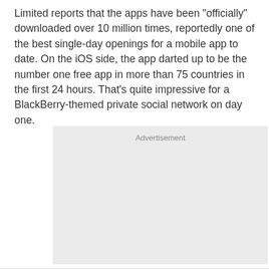Limited reports that the apps have been "officially" downloaded over 10 million times, reportedly one of the best single-day openings for a mobile app to date. On the iOS side, the app darted up to be the number one free app in more than 75 countries in the first 24 hours. That's quite impressive for a BlackBerry-themed private social network on day one.
[Figure (other): Advertisement placeholder box with light gray background and 'Advertisement' label at top center]